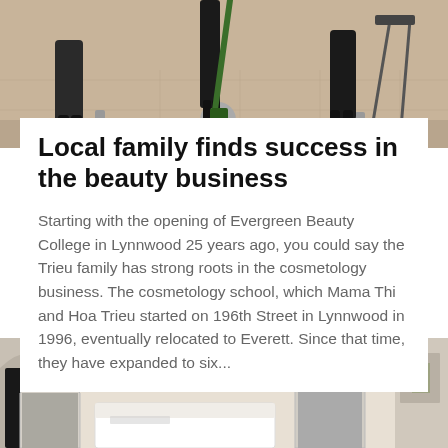[Figure (photo): Top photo of a hair salon floor showing legs and feet of stylists, salon chairs with chrome bases, and a broom on tiled flooring.]
Local family finds success in the beauty business
Starting with the opening of Evergreen Beauty College in Lynnwood 25 years ago, you could say the Trieu family has strong roots in the cosmetology business. The cosmetology school, which Mama Thi and Hoa Trieu started on 196th Street in Lynnwood in 1996, eventually relocated to Everett. Since that time, they have expanded to six...
[Figure (photo): Bottom photo showing interior of a beauty salon with arched doorways, hanging chandelier pendants, white reception desk, and upscale decor.]